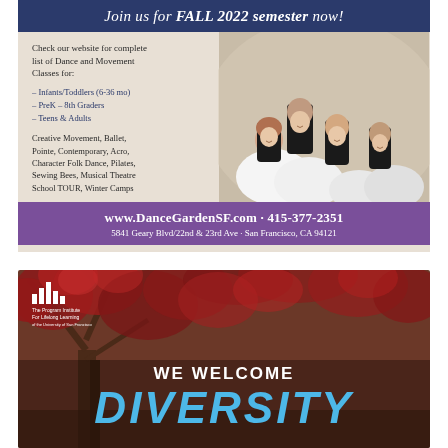Join us for FALL 2022 semester now!
Check our website for complete list of Dance and Movement Classes for:
– Infants/Toddlers (6-36 mo)
– PreK – 8th Graders
– Teens & Adults
Creative Movement, Ballet, Pointe, Contemporary, Acro, Character Folk Dance, Pilates, Sewing Bees, Musical Theatre School TOUR, Winter Camps
[Figure (photo): Four young girls in ballet attire posing together]
www.DanceGardenSF.com · 415-377-2351
5841 Geary Blvd/22nd & 23rd Ave · San Francisco, CA 94121
[Figure (photo): Red autumn tree foliage background with The Program Institute For Lifelong Learning logo and text WE WELCOME DIVERSITY]